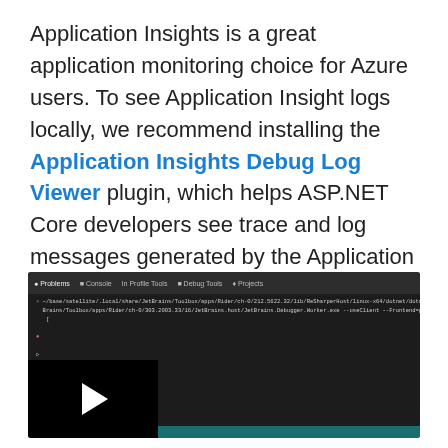Application Insights is a great application monitoring choice for Azure users. To see Application Insight logs locally, we recommend installing the Application Insights Debug Log Viewer plugin, which helps ASP.NET Core developers see trace and log messages generated by the Application Insights NuGet packages.
[Figure (screenshot): Screenshot of a dark-themed IDE or terminal showing code/command output, with a video play button overlay in the bottom-left corner]